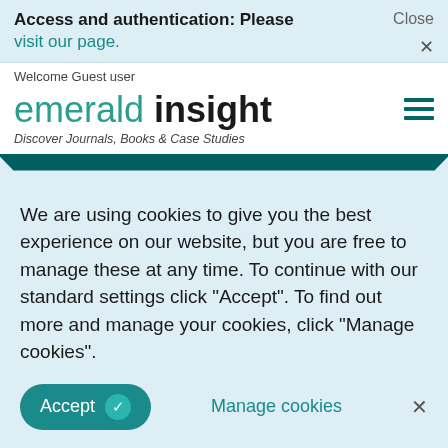Access and authentication: Please visit our page.
Close ×
Welcome Guest user
[Figure (logo): Emerald Insight logo with text 'emerald insight' and tagline 'Discover Journals, Books & Case Studies']
We are using cookies to give you the best experience on our website, but you are free to manage these at any time. To continue with our standard settings click "Accept". To find out more and manage your cookies, click "Manage cookies".
Accept  Manage cookies  ×
Sweden